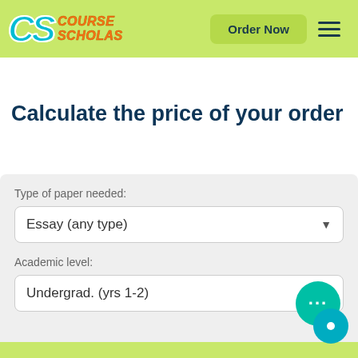[Figure (logo): CourseScholas logo with CS letters in cyan and orange text, on a lime green header bar]
Calculate the price of your order
Type of paper needed:
Essay (any type)
Academic level:
Undergrad. (yrs 1-2)